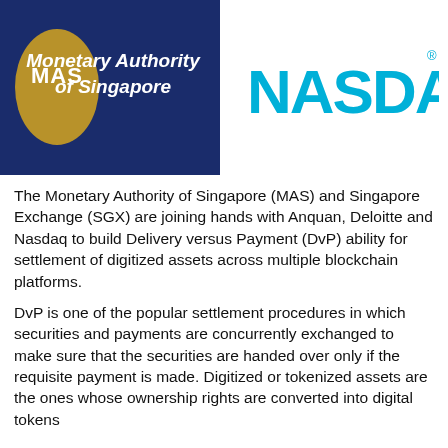[Figure (logo): MAS (Monetary Authority of Singapore) logo on dark navy blue background with gold oval and white MAS text, alongside white text 'Monetary Authority of Singapore']
[Figure (logo): NASDAQ logo in bold cyan/light blue letters with registered trademark symbol]
The Monetary Authority of Singapore (MAS) and Singapore Exchange (SGX) are joining hands with Anquan, Deloitte and Nasdaq to build Delivery versus Payment (DvP) ability for settlement of digitized assets across multiple blockchain platforms.
DvP is one of the popular settlement procedures in which securities and payments are concurrently exchanged to make sure that the securities are handed over only if the requisite payment is made. Digitized or tokenized assets are the ones whose ownership rights are converted into digital tokens